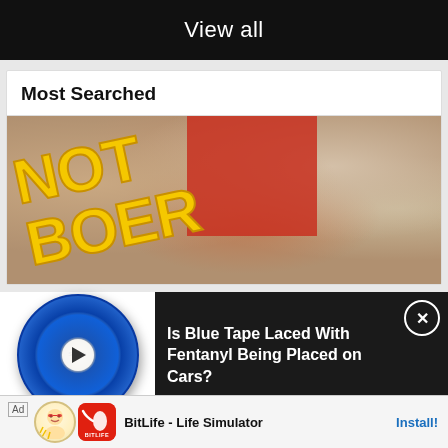View all
Most Searched
[Figure (screenshot): Blurry selfie-style photo of three people with large yellow text overlay reading 'NOT BOER' on a diagonal]
[Figure (screenshot): Video popup showing a roll of blue Scotch masking tape with a play button, beside text reading 'Is Blue Tape Laced With Fentanyl Being Placed on Cars?']
Is Blue Tape Laced With Fentanyl Being Placed on Cars?
[Figure (screenshot): Ad banner for BitLife - Life Simulator app showing baby icon and app icon with Install button]